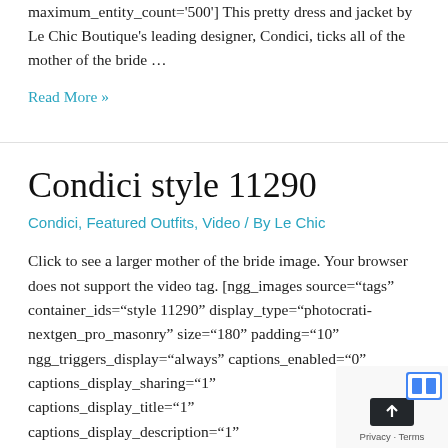maximum_entity_count='500'] This pretty dress and jacket by Le Chic Boutique's leading designer, Condici, ticks all of the mother of the bride …
Read More »
Condici style 11290
Condici, Featured Outfits, Video / By Le Chic
Click to see a larger mother of the bride image. Your browser does not support the video tag. [ngg_images source="tags" container_ids="style 11290" display_type="photocrati-nextgen_pro_masonry" size="180" padding="10" ngg_triggers_display="always" captions_enabled="0" captions_display_sharing="1" captions_display_title="1" captions_display_description="1"